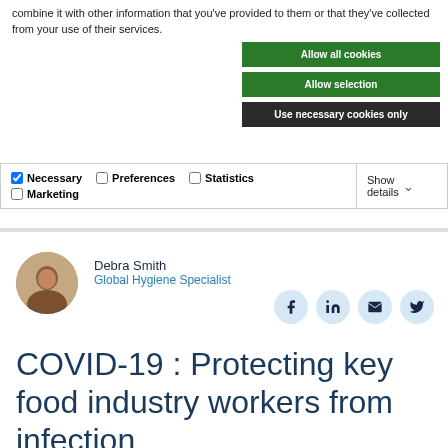combine it with other information that you've provided to them or that they've collected from your use of their services.
[Figure (screenshot): Cookie consent buttons: Allow all cookies (green), Allow selection (green), Use necessary cookies only (dark/black)]
[Figure (screenshot): Cookie preference bar with checkboxes for Necessary (checked), Preferences, Statistics, Marketing, and Show details dropdown]
[Figure (photo): Circular profile photo of Debra Smith, Global Hygiene Specialist]
Debra Smith
Global Hygiene Specialist
[Figure (infographic): Social sharing icons: Facebook, LinkedIn, Email, Twitter in light blue circles]
COVID-19 : Protecting key food industry workers from infection